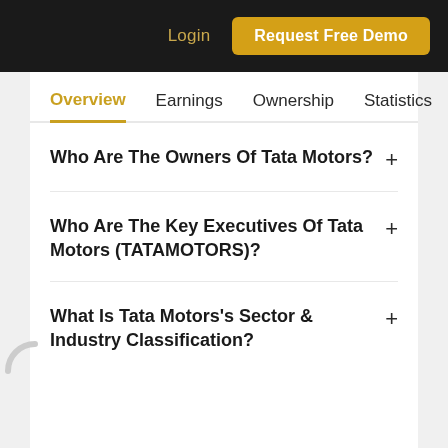Login  Request Free Demo
Overview  Earnings  Ownership  Statistics
Who Are The Owners Of Tata Motors?
Who Are The Key Executives Of Tata Motors (TATAMOTORS)?
What Is Tata Motors's Sector & Industry Classification?